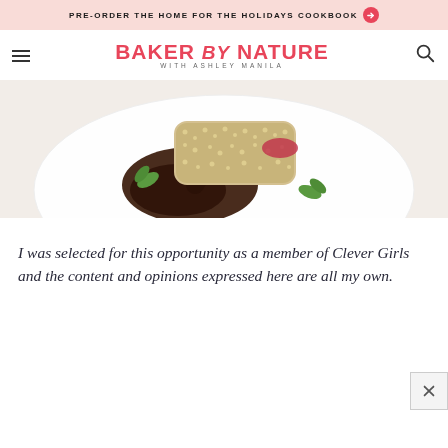PRE-ORDER THE HOME FOR THE HOLIDAYS COOKBOOK →
BAKER by NATURE WITH ASHLEY MANILA
[Figure (photo): A white plate with a dessert — what appears to be a coconut-crusted item with raspberry jam and dark chocolate sauce poured over it, garnished with mint leaves.]
I was selected for this opportunity as a member of Clever Girls and the content and opinions expressed here are all my own.